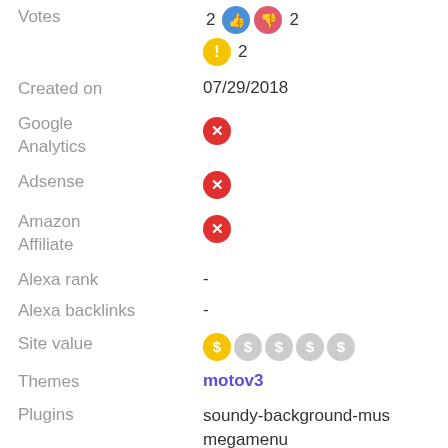Votes: 2 thumbs-up, 2 thumbs-down, 2 warning
Created on: 07/29/2018
Google Analytics: (red X / no)
Adsense: (red X / no)
Amazon Affiliate: (red X / no)
Alexa rank: -
Alexa backlinks: -
Site value: 1 of 5 dollar signs active
Themes: motov3
Plugins: soundy-background-mus(ic), megamenu, moto-autoresponder, motov3commentrating, learnpress